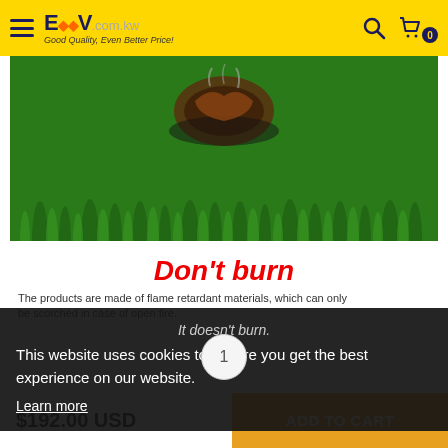ECVV .com.kw — Good Quality, Even Better Price!
[Figure (photo): Close-up photo of green artificial grass with a burnt/scorched object on it, demonstrating flame retardant properties]
Don't burn
The products are made of flame retardant materials, which can only be scorched in case of open fire.
It doesn't burn.
This website uses cookies to ensure you get the best experience on our website.
Learn more
1
$192.00 USD
ADD TO CART